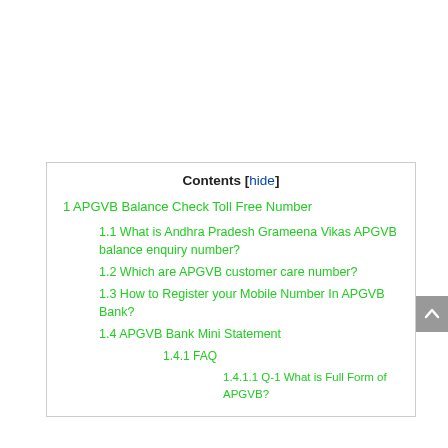Contents [hide]
1 APGVB Balance Check Toll Free Number
1.1 What is Andhra Pradesh Grameena Vikas APGVB balance enquiry number?
1.2 Which are APGVB customer care number?
1.3 How to Register your Mobile Number In APGVB Bank?
1.4 APGVB Bank Mini Statement
1.4.1 FAQ
1.4.1.1 Q-1 What is Full Form of APGVB?